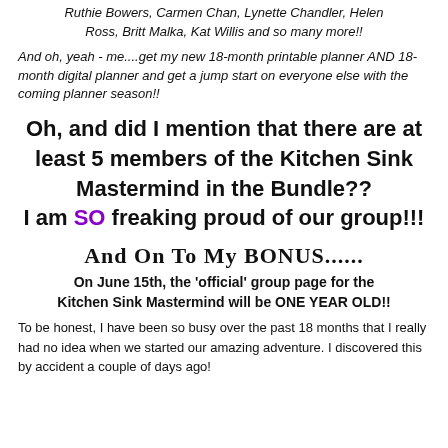Ruthie Bowers, Carmen Chan, Lynette Chandler, Helen Ross, Britt Malka, Kat Willis and so many more!!
And oh, yeah - me....get my new 18-month printable planner AND 18-month digital planner and get a jump start on everyone else with the coming planner season!!
Oh, and did I mention that there are at least 5 members of the Kitchen Sink Mastermind in the Bundle?? I am SO freaking proud of our group!!!
And On To My BONUS......
On June 15th, the 'official' group page for the Kitchen Sink Mastermind will be ONE YEAR OLD!!
To be honest, I have been so busy over the past 18 months that I really had no idea when we started our amazing adventure. I discovered this by accident a couple of days ago!